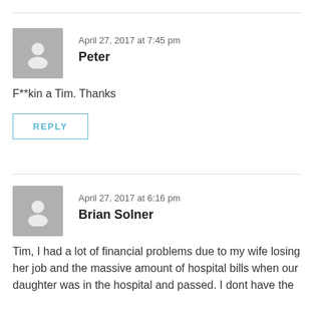April 27, 2017 at 7:45 pm
Peter
F**kin a Tim. Thanks
REPLY
April 27, 2017 at 6:16 pm
Brian Solner
Tim, I had a lot of financial problems due to my wife losing her job and the massive amount of hospital bills when our daughter was in the hospital and passed. I dont have the